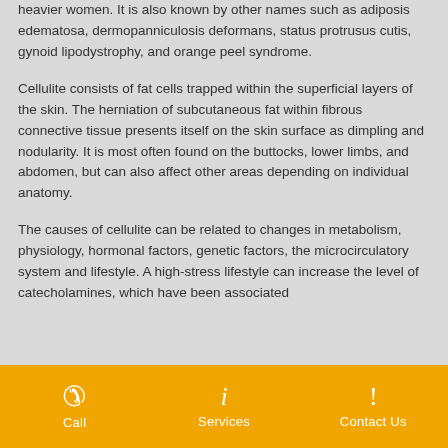heavier women. It is also known by other names such as adiposis edematosa, dermopanniculosis deformans, status protrusus cutis, gynoid lipodystrophy, and orange peel syndrome.
Cellulite consists of fat cells trapped within the superficial layers of the skin. The herniation of subcutaneous fat within fibrous connective tissue presents itself on the skin surface as dimpling and nodularity. It is most often found on the buttocks, lower limbs, and abdomen, but can also affect other areas depending on individual anatomy.
The causes of cellulite can be related to changes in metabolism, physiology, hormonal factors, genetic factors, the microcirculatory system and lifestyle. A high-stress lifestyle can increase the level of catecholamines, which have been associated
Call   Services   Contact Us